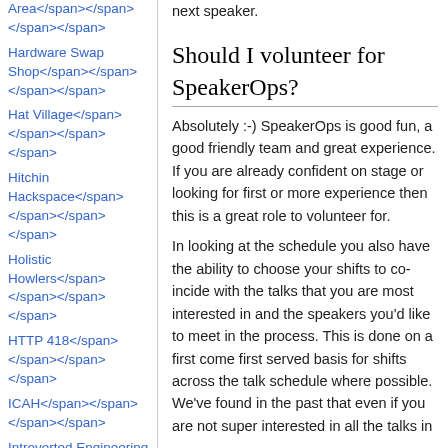Area</span></span></span></span>
Hardware Swap Shop</span></span></span></span>
Hat Village</span></span></span></span>
Hitchin Hackspace</span></span></span></span>
Holistic Howlers</span></span></span></span>
HTTP 418</span></span></span></span>
ICAH</span></span></span></span>
Introverted Engineering Task Force</span></span></span></span>
Ipswich Makerspace</span></span></span></span>
Irish Embassy</span></span></span></span>
lainchan</span></span></span></span>
LaserLlamas</span></span></span></span>
next speaker.
Should I volunteer for SpeakerOps?
Absolutely :-) SpeakerOps is good fun, a good friendly team and great experience. If you are already confident on stage or looking for first or more experience then this is a great role to volunteer for.
In looking at the schedule you also have the ability to choose your shifts to co-incide with the talks that you are most interested in and the speakers you'd like to meet in the process. This is done on a first come first served basis for shifts across the talk schedule where possible. We've found in the past that even if you are not super interested in all the talks in